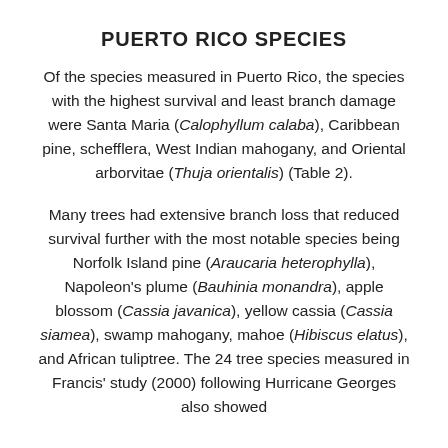PUERTO RICO SPECIES
Of the species measured in Puerto Rico, the species with the highest survival and least branch damage were Santa Maria (Calophyllum calaba), Caribbean pine, schefflera, West Indian mahogany, and Oriental arborvitae (Thuja orientalis) (Table 2).
Many trees had extensive branch loss that reduced survival further with the most notable species being Norfolk Island pine (Araucaria heterophylla), Napoleon's plume (Bauhinia monandra), apple blossom (Cassia javanica), yellow cassia (Cassia siamea), swamp mahogany, mahoe (Hibiscus elatus), and African tuliptree. The 24 tree species measured in Francis' study (2000) following Hurricane Georges also showed